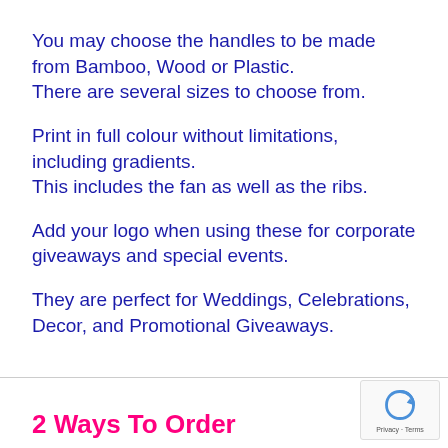You may choose the handles to be made from Bamboo, Wood or Plastic.
There are several sizes to choose from.
Print in full colour without limitations, including gradients.
This includes the fan as well as the ribs.
Add your logo when using these for corporate giveaways and special events.
They are perfect for Weddings, Celebrations, Decor, and Promotional Giveaways.
2 Ways To Order